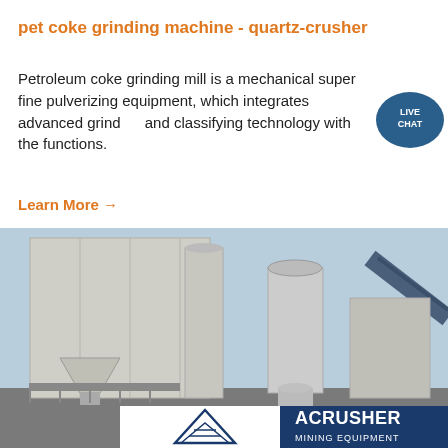pet coke grinding machine - quartz-crusher
Petroleum coke grinding mill is a mechanical super fine pulverizing equipment, which integrates advanced grind and classifying technology with the functions.
Learn More →
[Figure (photo): Industrial grinding/dust collection equipment — large white metal building structures with cylindrical exhaust stacks and pipes, an industrial facility exterior under a blue sky. ACRUSHER MINING EQUIPMENT logo visible at bottom.]